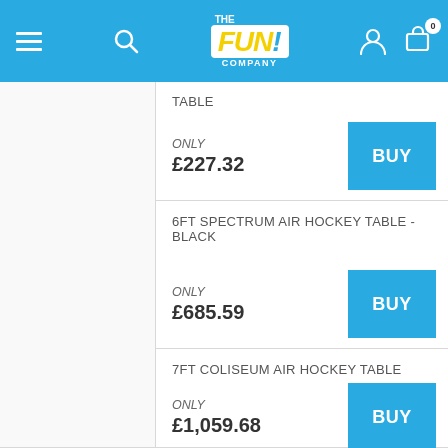The Fun Company — navigation header with menu, search, account, and cart (0 items)
TABLE
ONLY £227.32
BUY
6FT SPECTRUM AIR HOCKEY TABLE - BLACK
ONLY £685.59
BUY
7FT COLISEUM AIR HOCKEY TABLE
ONLY £1,059.68
BUY